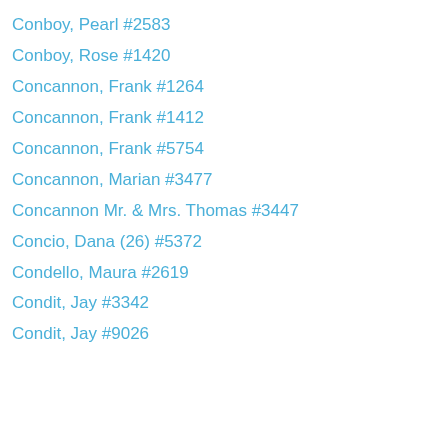Conboy, Pearl #2583
Conboy, Rose #1420
Concannon, Frank #1264
Concannon, Frank #1412
Concannon, Frank #5754
Concannon, Marian #3477
Concannon Mr. & Mrs. Thomas #3447
Concio, Dana (26) #5372
Condello, Maura #2619
Condit, Jay #3342
Condit, Jay #9026